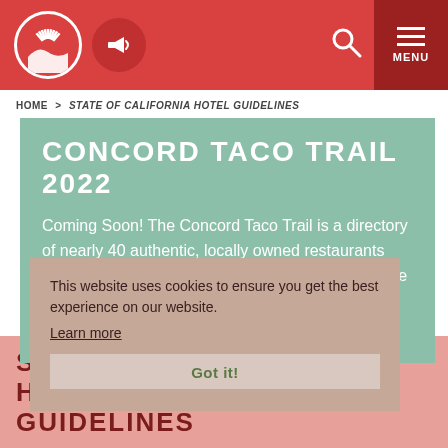[Figure (screenshot): Red navigation bar with Concord city logo (white fan/shell on red circle), megaphone icon in red circle, search icon, and dark red MENU box with three horizontal lines]
HOME > STATE OF CALIFORNIA HOTEL GUIDELINES
CONCORD TACO TRAIL 2022
Coming Soon! The Concord Taco Trail is a directory of nearly 40 authentic, locally owned restaurants and taquerias, and it's all you need to explore some the city's best hidden culinary gems.
More Info
This website uses cookies to ensure you get the best experience on our website.
Learn more
Got it!
STATE OF CALIFORNIA HOTEL GUIDELINES